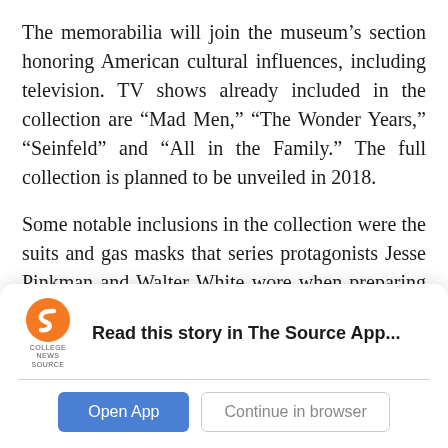The memorabilia will join the museum's section honoring American cultural influences, including television. TV shows already included in the collection are “Mad Men,” “The Wonder Years,” “Seinfeld” and “All in the Family.” The full collection is planned to be unveiled in 2018.
Some notable inclusions in the collection were the suits and gas masks that series protagonists Jesse Pinkman and Walter White wore when preparing their special brand of methamphetamine. The props used to depict
[Figure (logo): College News Source logo — orange S-shaped icon above text reading COLLEGE NEWS SOURCE]
Read this story in The Source App...
Open App   Continue in browser